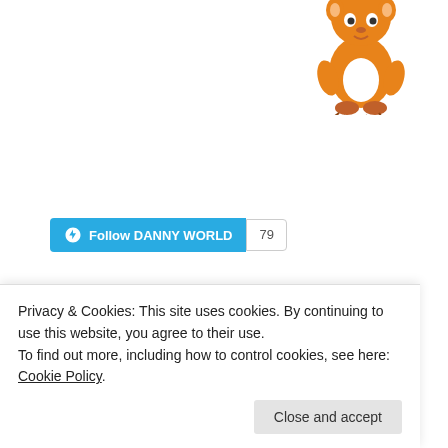[Figure (illustration): Cartoon mascot character - orange/brown animal with white shirt, drawn in a childlike style, partially visible at top right]
[Figure (other): WordPress Follow button (blue) labeled 'Follow DANNY WORLD' with follower count badge showing '79']
FACEBOOK PAGE
COMMUNITY
[Figure (photo): Community member thumbnail strip showing small profile photos/images]
Privacy & Cookies: This site uses cookies. By continuing to use this website, you agree to their use.
To find out more, including how to control cookies, see here: Cookie Policy
Close and accept